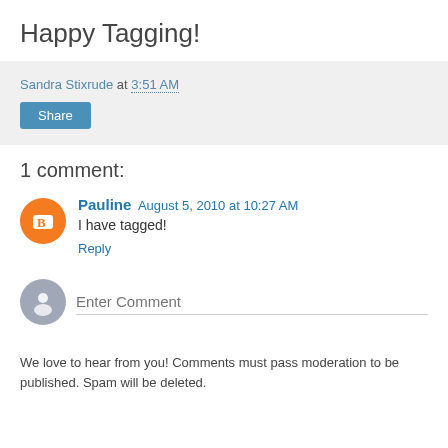Happy Tagging!
Sandra Stixrude at 3:51 AM
Share
1 comment:
Pauline August 5, 2010 at 10:27 AM
I have tagged!
Reply
Enter Comment
We love to hear from you! Comments must pass moderation to be published. Spam will be deleted.